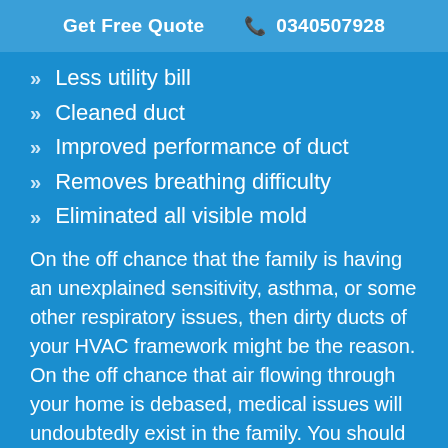Get Free Quote  📞 0340507928
Less utility bill
Cleaned duct
Improved performance of duct
Removes breathing difficulty
Eliminated all visible mold
On the off chance that the family is having an unexplained sensitivity, asthma, or some other respiratory issues, then dirty ducts of your HVAC framework might be the reason. On the off chance that air flowing through your home is debased, medical issues will undoubtedly exist in the family. You should get your duct assessed and cleaned whenever required by our experts.